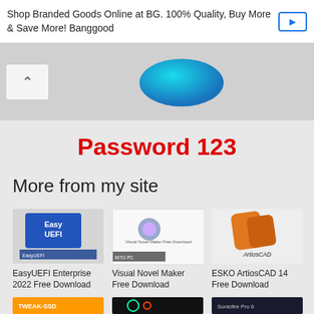Shop Branded Goods Online at BG. 100% Quality, Buy More & Save More! Banggood
[Figure (screenshot): Ad banner area with chevron up button and blue product image]
Password 123
More from my site
[Figure (screenshot): EasyUEFI Enterprise 2022 product thumbnail]
EasyUEFI Enterprise 2022 Free Download
[Figure (screenshot): Visual Novel Maker Free Download thumbnail]
Visual Novel Maker Free Download
[Figure (screenshot): ESKO ArtiosCAD 14 Free Download thumbnail]
ESKO ArtiosCAD 14 Free Download
[Figure (screenshot): Tweak-SSD product thumbnail]
[Figure (screenshot): DP colorful product thumbnail]
[Figure (screenshot): Sonicfire Pro 6 product thumbnail]